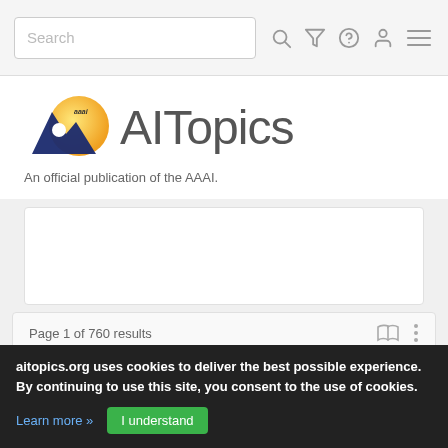Search bar and navigation icons
[Figure (logo): AITopics logo with AAAI mountain/person icon and gold circle, with the text 'AITopics' and tagline 'An official publication of the AAAI.']
An official publication of the AAAI.
[Figure (screenshot): White content card area (blank/loading area)]
Page 1 of 760 results
aitopics.org uses cookies to deliver the best possible experience. By continuing to use this site, you consent to the use of cookies.
Learn more »
I understand